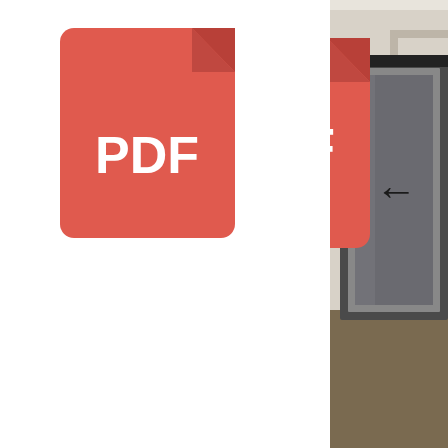[Figure (screenshot): Screenshot of a file browser or search result showing two PDF file icons with a label overlay. Background shows an interior hallway/room with an elevator or door. Two red PDF file icons are visible, one at top center and one at bottom center of the left white panel. A gray semi-transparent label bar reads 'Atifa Communist Party paramilitary wing' in bold.]
Atifa Communist Party paramilitary wing